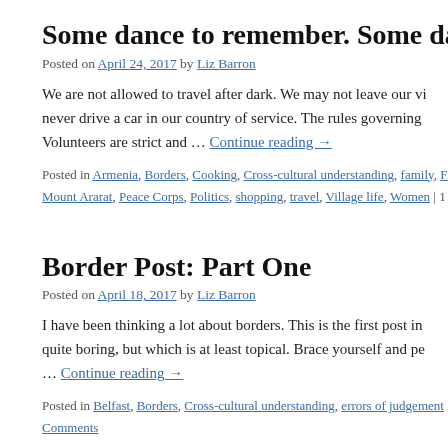Some dance to remember. Some dance to
Posted on April 24, 2017 by Liz Barron
We are not allowed to travel after dark. We may not leave our vi never drive a car in our country of service. The rules governing Volunteers are strict and … Continue reading →
Posted in Armenia, Borders, Cooking, Cross-cultural understanding, family, F Mount Ararat, Peace Corps, Politics, shopping, travel, Village life, Women | 1
Border Post: Part One
Posted on April 18, 2017 by Liz Barron
I have been thinking a lot about borders. This is the first post in quite boring, but which is at least topical. Brace yourself and pe … Continue reading →
Posted in Belfast, Borders, Cross-cultural understanding, errors of judgement Comments